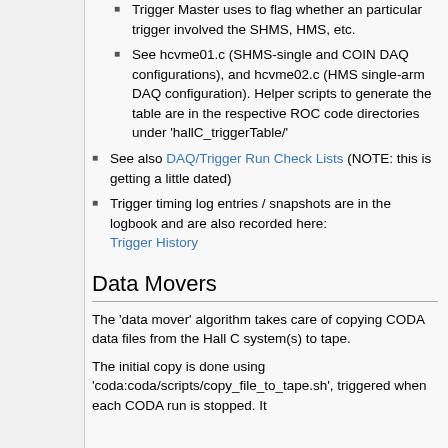Trigger Master uses to flag whether an particular trigger involved the SHMS, HMS, etc.
See hcvme01.c (SHMS-single and COIN DAQ configurations), and hcvme02.c (HMS single-arm DAQ configuration). Helper scripts to generate the table are in the respective ROC code directories under 'hallC_triggerTable/'
See also DAQ/Trigger Run Check Lists (NOTE: this is getting a little dated)
Trigger timing log entries / snapshots are in the logbook and are also recorded here: Trigger History
Data Movers
The 'data mover' algorithm takes care of copying CODA data files from the Hall C system(s) to tape.
The initial copy is done using 'coda:coda/scripts/copy_file_to_tape.sh', triggered when each CODA run is stopped. It